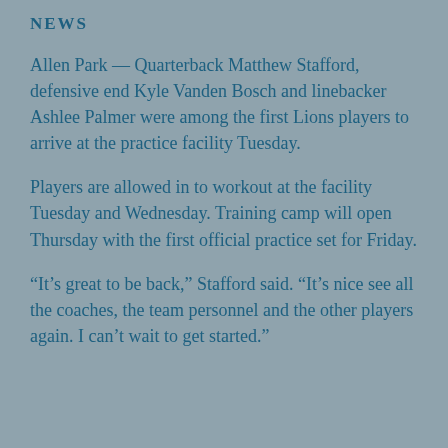NEWS
Allen Park — Quarterback Matthew Stafford, defensive end Kyle Vanden Bosch and linebacker Ashlee Palmer were among the first Lions players to arrive at the practice facility Tuesday.
Players are allowed in to workout at the facility Tuesday and Wednesday. Training camp will open Thursday with the first official practice set for Friday.
“It’s great to be back,” Stafford said. “It’s nice see all the coaches, the team personnel and the other players again. I can’t wait to get started.”